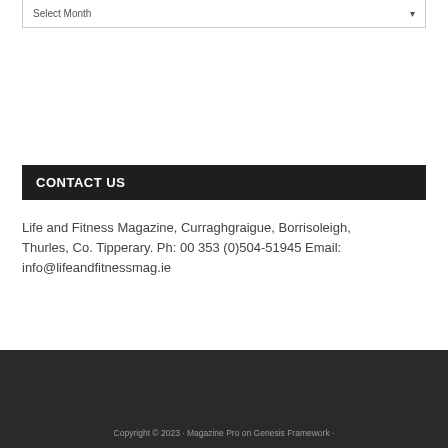Select Month
CONTACT US
Life and Fitness Magazine, Curraghgraigue, Borrisoleigh, Thurles, Co. Tipperary. Ph: 00 353 (0)504-51945 Email: info@lifeandfitnessmag.ie
Copyright © 2023 · Magazine Pro on Genesis Framework ·